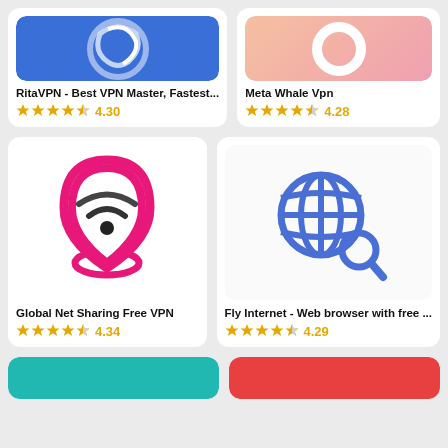[Figure (screenshot): App listing grid showing VPN and browser apps with icons, names, and star ratings]
RitaVPN - Best VPN Master, Fastest...
4.30
Meta Whale Vpn
4.28
Global Net Sharing Free VPN
4.34
Fly Internet - Web browser with free ...
4.29